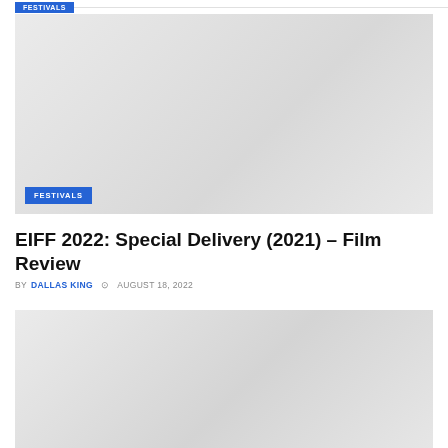FESTIVALS
[Figure (photo): Large placeholder/blank image area with light gray gradient background, with a blue 'FESTIVALS' badge in the lower left corner]
EIFF 2022: Special Delivery (2021) – Film Review
BY DALLAS KING  AUGUST 18, 2022
[Figure (photo): Second large placeholder/blank image area with light gray gradient background]